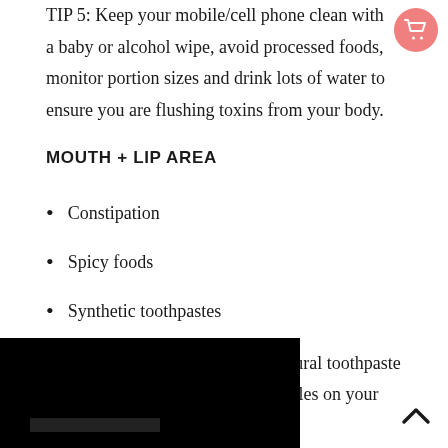TIP 5: Keep your mobile/cell phone clean with a baby or alcohol wipe, avoid processed foods, monitor portion sizes and drink lots of water to ensure you are flushing toxins from your body.
MOUTH + LIP AREA
Constipation
Spicy foods
Synthetic toothpastes
TIPS: Avoid spicy foods, use a natural toothpaste and resist the urge to squeeze pimples on your lip